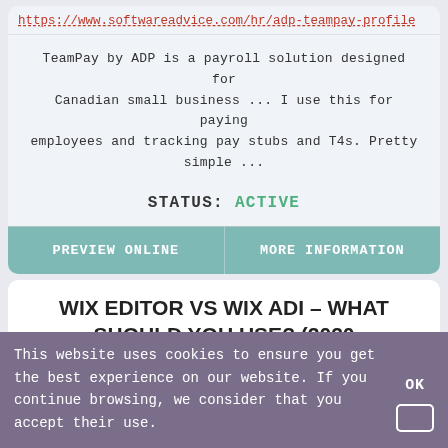https://www.softwareadvice.com/hr/adp-teampay-profile
TeamPay by ADP is a payroll solution designed for Canadian small business ... I use this for paying employees and tracking pay stubs and T4s. Pretty simple ...
STATUS: ACTIVE
PREVIEW ONLINE
MORE INFORMATION
WIX EDITOR VS WIX ADI – WHAT SHOULD YOU USE? (2020 COMPARISON)
https://www.websiteplanet.com/blog/wix-editor-vs-wix-a
This website uses cookies to ensure you get the best experience on our website. If you continue browsing, we consider that you accept their use.
OK